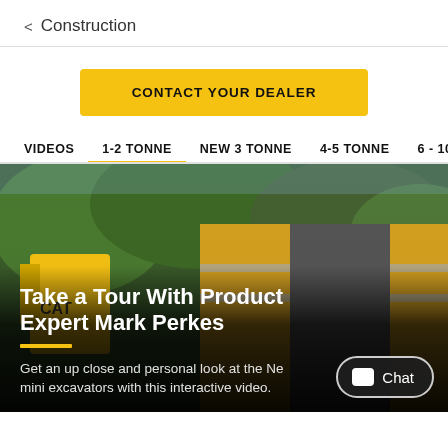< Construction
CONTACT YOUR DEALER
VIDEOS   1-2 TONNE   NEW 3 TONNE   4-5 TONNE   6 - 10 TO
[Figure (photo): A construction worker wearing a yellow high-visibility vest standing near a yellow CAT excavator with trees in the background. Overlay text reads 'Take a Tour With Product Expert Mark Perkes' with a yellow horizontal bar and description 'Get an up close and personal look at the Ne mini excavators with this interactive video.']
Chat